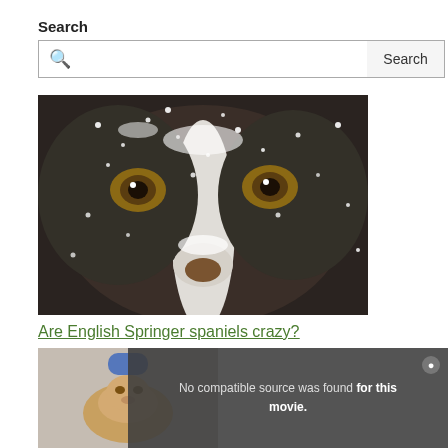Search
[Figure (screenshot): Search input bar with magnifying glass icon and Search button]
[Figure (photo): Close-up photo of an English Springer Spaniel dog face covered in snow, with brown eyes and black and white fur]
Are English Springer spaniels crazy?
[Figure (screenshot): Video player overlay showing a small dog thumbnail on the left and a dark overlay with text 'No compatible source was found for this movie.' with a close button]